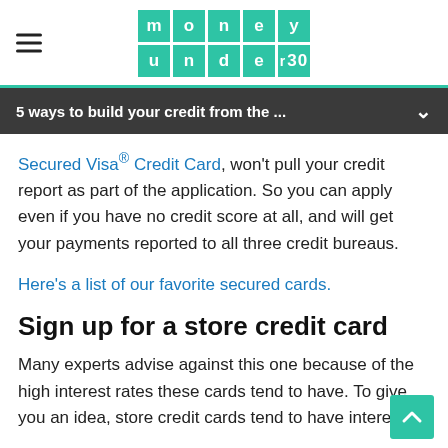money under 30 (logo)
5 ways to build your credit from the ...
Secured Visa® Credit Card, won't pull your credit report as part of the application. So you can apply even if you have no credit score at all, and will get your payments reported to all three credit bureaus.
Here's a list of our favorite secured cards.
Sign up for a store credit card
Many experts advise against this one because of the high interest rates these cards tend to have. To give you an idea, store credit cards tend to have interest